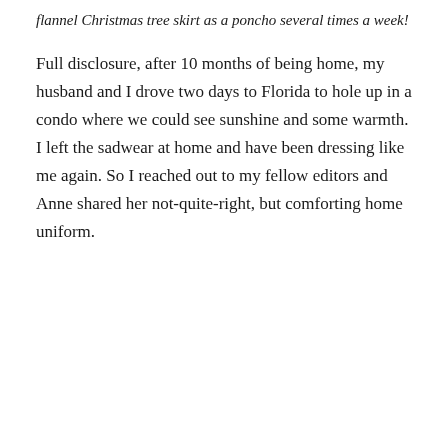flannel Christmas tree skirt as a poncho several times a week!
Full disclosure, after 10 months of being home, my husband and I drove two days to Florida to hole up in a condo where we could see sunshine and some warmth. I left the sadwear at home and have been dressing like me again. So I reached out to my fellow editors and Anne shared her not-quite-right, but comforting home uniform.